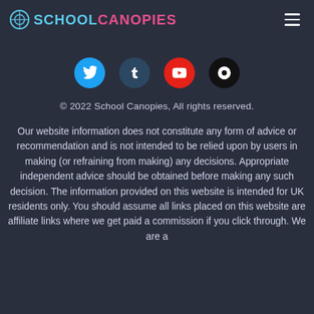SCHOOL CANOPIES
[Figure (illustration): Four social media icons in circles: Twitter (blue), Tumblr (dark blue), YouTube (red), Email (black)]
© 2022 School Canopies, All rights reserved.
Our website information does not constitute any form of advice or recommendation and is not intended to be relied upon by users in making (or refraining from making) any decisions. Appropriate independent advice should be obtained before making any such decision. The information provided on this website is intended for UK residents only. You should assume all links placed on this website are affiliate links where we get paid a commission if you click through. We are a